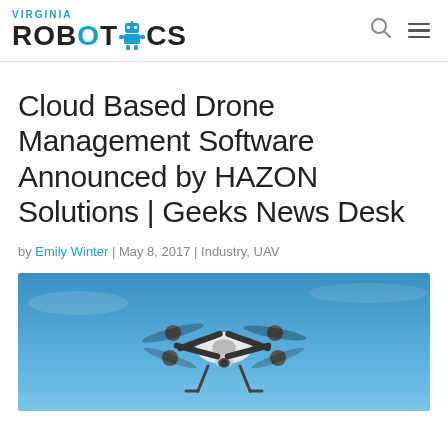VIRGINIA ROBOTICS
Cloud Based Drone Management Software Announced by HAZON Solutions | Geeks News Desk
by Emily Winter | May 8, 2017 | Industry, UAV
[Figure (photo): A white and black quadcopter drone photographed from below against a blue sky, with visible propellers and camera gimbal.]